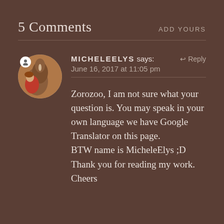5 Comments
ADD YOURS
MICHELEELYS says:
June 16, 2017 at 11:05 pm
↩ Reply
[Figure (photo): Circular avatar photo of a person with a horse]
Zorozoo, I am not sure what your question is. You may speak in your own language we have Google Translator on this page.
BTW name is MicheleElys ;D Thank you for reading my work.
Cheers